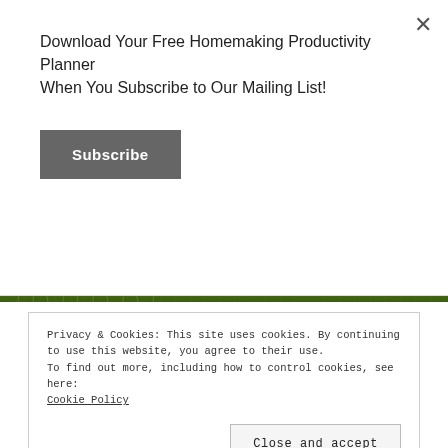Download Your Free Homemaking Productivity Planner When You Subscribe to Our Mailing List!
Subscribe
[Figure (photo): Close-up photograph of lush green grass]
We spotted the most beautiful rainbow on the way home. It rained while we were driving home. Around this area seems to have lots of rainbows
Privacy & Cookies: This site uses cookies. By continuing to use this website, you agree to their use.
To find out more, including how to control cookies, see here: Cookie Policy
Close and accept